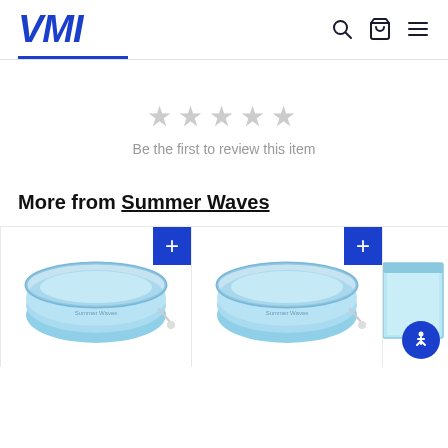VMI
Be the first to review this item
More from Summer Waves
[Figure (photo): Blue inflatable round swimming pool with filter pump attachment]
[Figure (photo): Blue inflatable round swimming pool with filter pump attachment]
[Figure (photo): Partial view of a blue rectangular swimming pool]